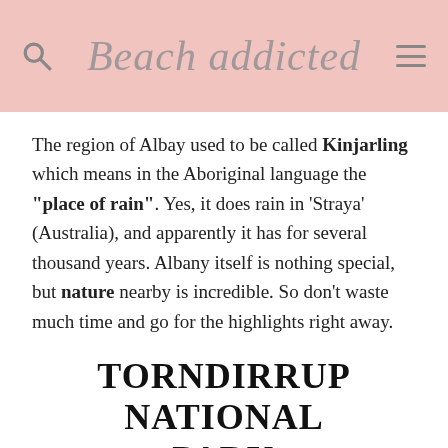Beach addicted
The region of Albay used to be called Kinjarling which means in the Aboriginal language the "place of rain". Yes, it does rain in 'Straya' (Australia), and apparently it has for several thousand years. Albany itself is nothing special, but nature nearby is incredible. So don't waste much time and go for the highlights right away.
TORNDIRRUP NATIONAL PARK